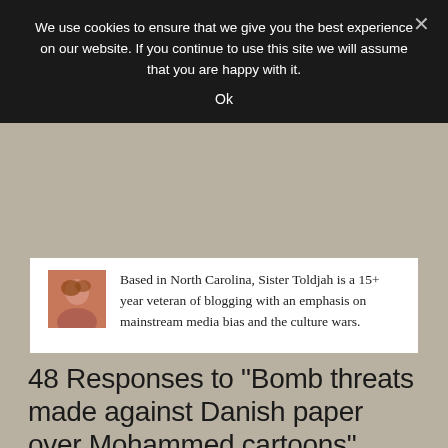We use cookies to ensure that we give you the best experience on our website. If you continue to use this site we will assume that you are happy with it.
Ok
[Figure (photo): Small portrait photo of Sister Toldjah, a woman with reddish-brown hair]
Based in North Carolina, Sister Toldjah is a 15+ year veteran of blogging with an emphasis on mainstream media bias and the culture wars.
48 Responses to "Bomb threats made against Danish paper over Mohammed cartoons"